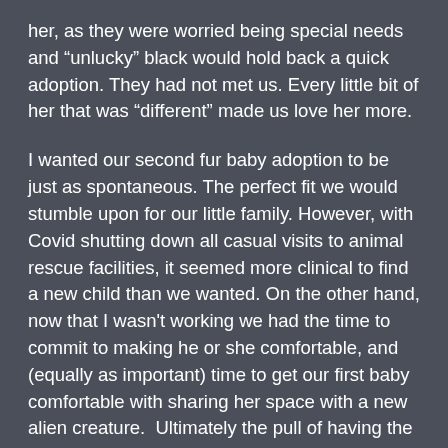her, as they were worried being special needs and "unlucky" black would hold back a quick adoption. They had not met us. Every little bit of her that was "different" made us love her more.
I wanted our second fur baby adoption to be just as spontaneous. The perfect fit we would stumble upon for our little family. However, with Covid shutting down all casual visits to animal rescue facilities, it seemed more clinical to find a new child than we wanted. On the other hand, now that I wasn't working we had the time to commit to making he or she comfortable, and (equally as important) time to get our first baby comfortable with sharing her space with a new alien creature.  Ultimately the pull of having the time outweighed the clinical process of finding a new baby